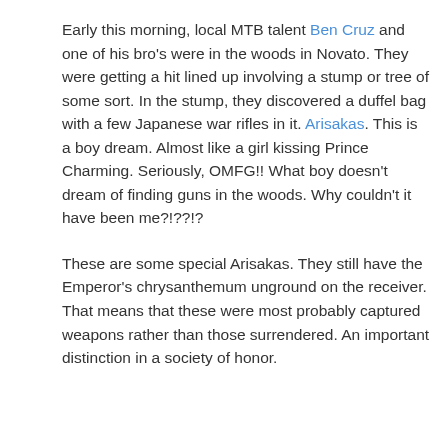Early this morning, local MTB talent Ben Cruz and one of his bro's were in the woods in Novato. They were getting a hit lined up involving a stump or tree of some sort. In the stump, they discovered a duffel bag with a few Japanese war rifles in it. Arisakas. This is a boy dream. Almost like a girl kissing Prince Charming. Seriously, OMFG!! What boy doesn't dream of finding guns in the woods. Why couldn't it have been me?!??!?
These are some special Arisakas. They still have the Emperor's chrysanthemum unground on the receiver. That means that these were most probably captured weapons rather than those surrendered. An important distinction in a society of honor.